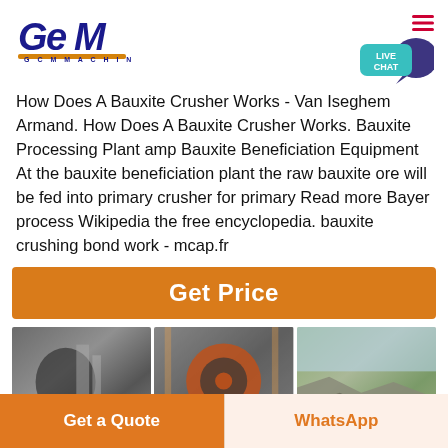[Figure (logo): GCM Machinery logo with blue text and orange underline]
How Does A Bauxite Crusher Works - Van Iseghem Armand. How Does A Bauxite Crusher Works. Bauxite Processing Plant amp Bauxite Beneficiation Equipment At the bauxite beneficiation plant the raw bauxite ore will be fed into primary crusher for primary Read more Bayer process Wikipedia the free encyclopedia. bauxite crushing bond work - mcap.fr
[Figure (infographic): Get Price orange button]
[Figure (photo): Industrial machinery equipment photo - gray steel machinery]
[Figure (photo): Crusher machine with orange flywheel]
[Figure (photo): Open pit quarry with rock crushing equipment]